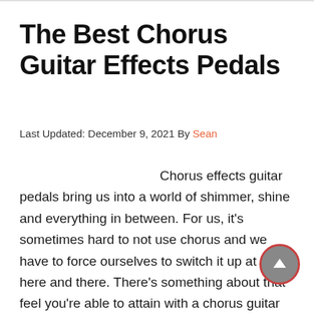The Best Chorus Guitar Effects Pedals
Last Updated: December 9, 2021 By Sean
Chorus effects guitar pedals bring us into a world of shimmer, shine and everything in between. For us, it's sometimes hard to not use chorus and we have to force ourselves to switch it up at least here and there. There's something about that feel you're able to attain with a chorus guitar pedal that's irreplaceable by others. With that being said, we've